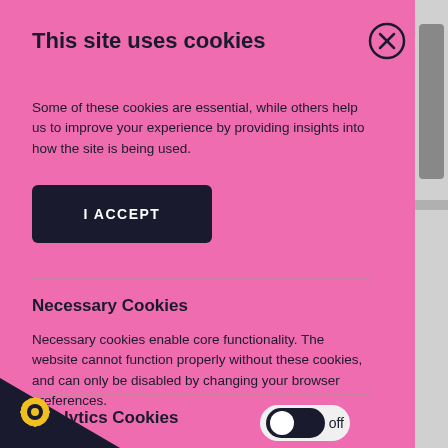This site uses cookies
Some of these cookies are essential, while others help us to improve your experience by providing insights into how the site is being used.
I ACCEPT
Necessary Cookies
Necessary cookies enable core functionality. The website cannot function properly without these cookies, and can only be disabled by changing your browser preferences.
Analytics Cookies
Analytical cookies help us to improve our website by collecting and reporting information on its usage.